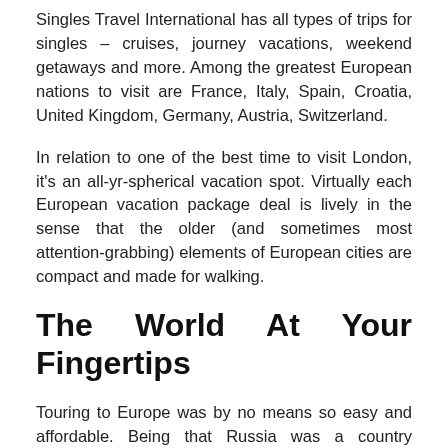Singles Travel International has all types of trips for singles – cruises, journey vacations, weekend getaways and more. Among the greatest European nations to visit are France, Italy, Spain, Croatia, United Kingdom, Germany, Austria, Switzerland.
In relation to one of the best time to visit London, it's an all-yr-spherical vacation spot. Virtually each European vacation package deal is lively in the sense that the older (and sometimes most attention-grabbing) elements of European cities are compact and made for walking.
The World At Your Fingertips
Touring to Europe was by no means so easy and affordable. Being that Russia was a country significantly